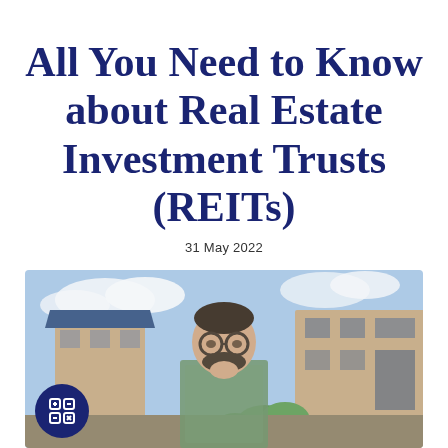All You Need to Know about Real Estate Investment Trusts (REITs)
31 May 2022
[Figure (photo): A man with glasses and a beard smiling and touching his chin thoughtfully, standing in front of a blurred residential building with a blue sky background.]